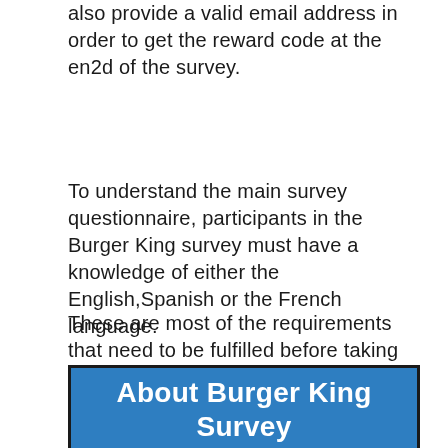also provide a valid email address in order to get the reward code at the en2d of the survey.
To understand the main survey questionnaire, participants in the Burger King survey must have a knowledge of either the English,Spanish or the French language.
These are most of the requirements that need to be fulfilled before taking the Burger King Customer Satisfaction survey and win rewards.
About Burger King Survey